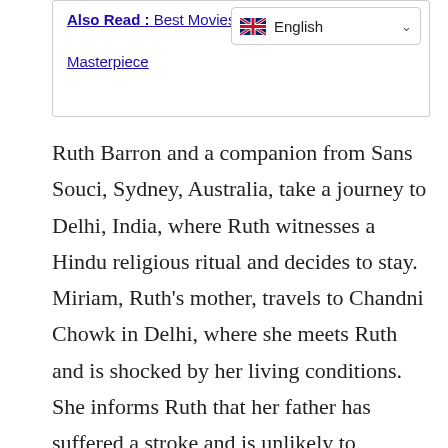Also Read : Best Movies tha… Masterpiece
[Figure (screenshot): Language selector dropdown showing UK flag and 'English' with a chevron]
Ruth Barron and a companion from Sans Souci, Sydney, Australia, take a journey to Delhi, India, where Ruth witnesses a Hindu religious ritual and decides to stay. Miriam, Ruth's mother, travels to Chandni Chowk in Delhi, where she meets Ruth and is shocked by her living conditions. She informs Ruth that her father has suffered a stroke and is unlikely to survive. Ruth, now known as Naznee, initially refuses, but eventually relents and returns home with her mother. She decorates her room with pictures of Bhagwan Shri Shiv, Bhagwan Shri Kishan, and Devi Maa Lakshmi, and she will soon discover